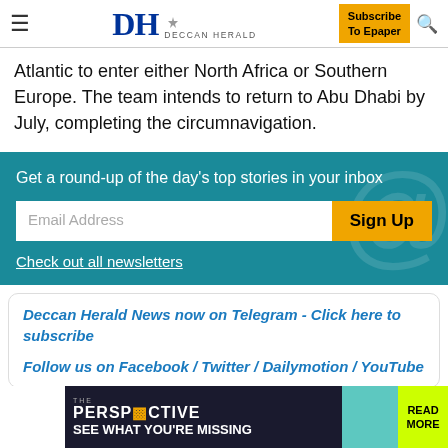DH DECCAN HERALD | Subscribe To Epaper
Atlantic to enter either North Africa or Southern Europe. The team intends to return to Abu Dhabi by July, completing the circumnavigation.
[Figure (infographic): Newsletter signup box with teal background. Text: 'Get a round-up of the day's top stories in your inbox'. Email Address input field with orange Sign Up button. Link: 'Check out all newsletters'. Decorative @ watermark on right side.]
Deccan Herald News now on Telegram - Click here to subscribe

Follow us on Facebook / Twitter / Dailymotion / YouTube
[Figure (infographic): Advertisement banner for 'THE PERSPECTIVE' with dark background. Text: 'SEE WHAT YOU'RE MISSING'. Teal square and yellow-green READ MORE button on right.]